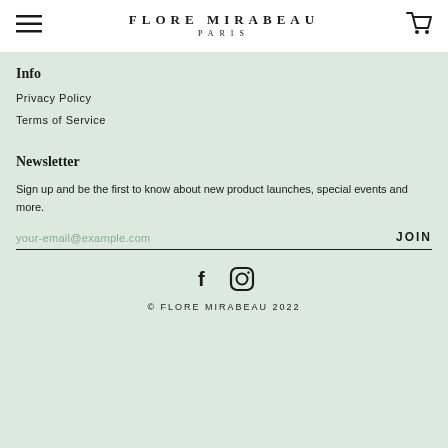FLORE MIRABEAU PARIS
Info
Privacy Policy
Terms of Service
Newsletter
Sign up and be the first to know about new product launches, special events and more.
your-email@example.com JOIN
[Figure (other): Facebook and Instagram social media icons]
© FLORE MIRABEAU 2022